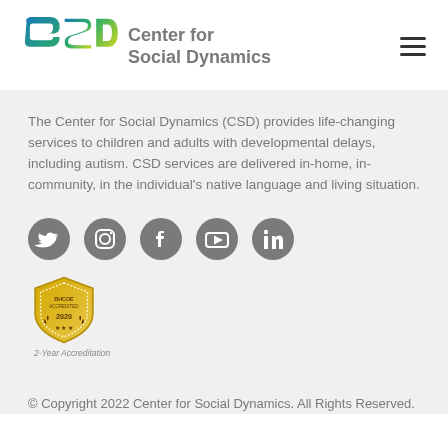[Figure (logo): Center for Social Dynamics logo with CSD letters in teal/green/yellow chain-link style]
Center for Social Dynamics
The Center for Social Dynamics (CSD) provides life-changing services to children and adults with developmental delays, including autism. CSD services are delivered in-home, in-community, in the individual's native language and living situation.
[Figure (illustration): Row of five gray circular social media icons: Twitter, Instagram, Facebook, YouTube, LinkedIn]
[Figure (illustration): BHCOE Accreditation badge - shield shape in yellow/gold with 2020 text and laurel wreath]
2-Year Accreditation
© Copyright 2022 Center for Social Dynamics. All Rights Reserved.